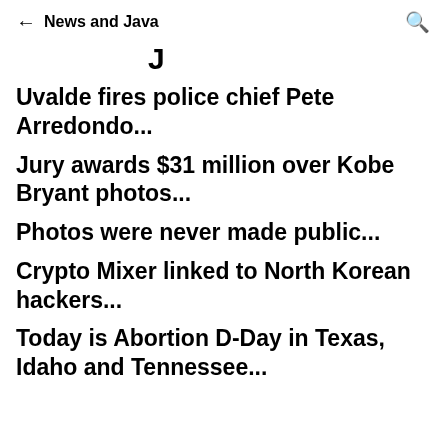← News and Java 🔍
J
Uvalde fires police chief Pete Arredondo...
Jury awards $31 million over Kobe Bryant photos...
Photos were never made public...
Crypto Mixer linked to North Korean hackers...
Today is Abortion D-Day in Texas, Idaho and Tennessee...